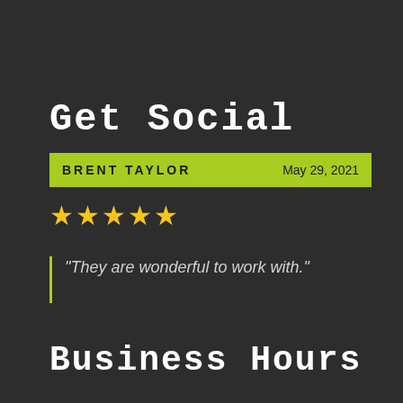Get Social
BRENT TAYLOR    May 29, 2021
★★★★★
"They are wonderful to work with."
Business Hours